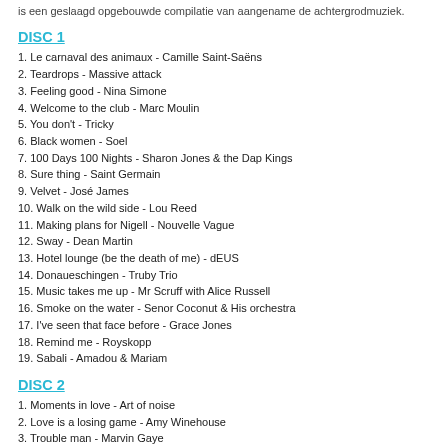is een geslaagd opgebouwde compilatie van aangename de achtergrodmuziek.
DISC 1
1. Le carnaval des animaux - Camille Saint-Saëns
2. Teardrops - Massive attack
3. Feeling good - Nina Simone
4. Welcome to the club - Marc Moulin
5. You don't - Tricky
6. Black women - Soel
7. 100 Days 100 Nights - Sharon Jones & the Dap Kings
8. Sure thing - Saint Germain
9. Velvet - José James
10. Walk on the wild side - Lou Reed
11. Making plans for Nigell - Nouvelle Vague
12. Sway - Dean Martin
13. Hotel lounge (be the death of me) - dEUS
14. Donaueschingen - Truby Trio
15. Music takes me up - Mr Scruff with Alice Russell
16. Smoke on the water - Senor Coconut & His orchestra
17. I've seen that face before - Grace Jones
18. Remind me - Royskopp
19. Sabali - Amadou & Mariam
DISC 2
1. Moments in love - Art of noise
2. Love is a losing game - Amy Winehouse
3. Trouble man - Marvin Gaye
4. Hero dead and gone - De-phazz
5. Chains and things - B.B. King